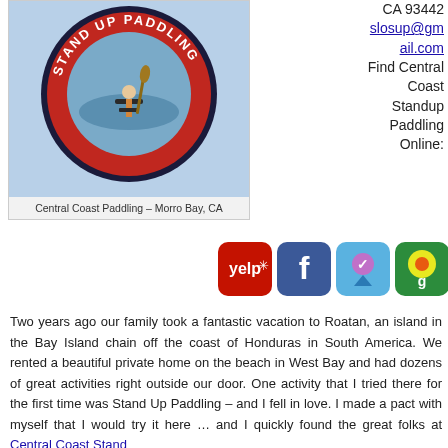[Figure (logo): Central Coast Paddling Stand Up Paddling circular logo with person on paddleboard, red border with white text]
Central Coast Paddling – Morro Bay, CA
CA 93442
slosup@gmail.com
Find Central Coast Standup Paddling Online:
[Figure (other): Social media icons: Yelp, Facebook, Foursquare, Google]
Two years ago our family took a fantastic vacation to Roatan, an island in the Bay Island chain off the coast of Honduras in South America. We rented a beautiful private home on the beach in West Bay and had dozens of great activities right outside our door. One activity that I tried there for the first time was Stand Up Paddling – and I fell in love. I made a pact with myself that I would try it here … and I quickly found the great folks at Central Coast Stand